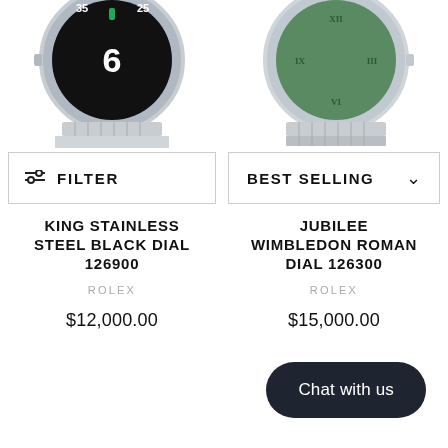[Figure (photo): Partial top view of a Rolex Air-King watch with black dial showing numbers 35, 6, 25, steel bracelet visible at bottom]
[Figure (photo): Partial top view of a Rolex Datejust watch with green Roman numeral dial, jubilee bracelet visible at bottom]
FILTER
BEST SELLING
KING STAINLESS STEEL BLACK DIAL 126900
ROLEX
$12,000.00
JUBILEE WIMBLEDON ROMAN DIAL 126300
ROLEX
$15,000.00
Chat with us